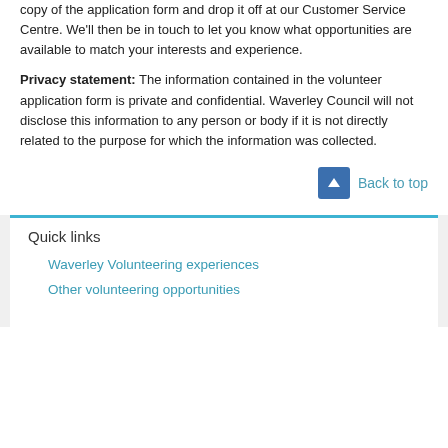copy of the application form and drop it off at our Customer Service Centre. We'll then be in touch to let you know what opportunities are available to match your interests and experience.
Privacy statement: The information contained in the volunteer application form is private and confidential. Waverley Council will not disclose this information to any person or body if it is not directly related to the purpose for which the information was collected.
Quick links
Waverley Volunteering experiences
Other volunteering opportunities